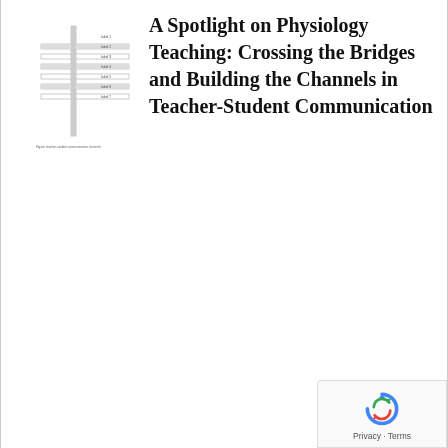[Figure (other): Small thumbnail image of a crossword-style grid or diagram with text labels, appearing to be a figure from the referenced article about teacher-student communication.]
A Spotlight on Physiology Teaching: Crossing the Bridges and Building the Channels in Teacher-Student Communication